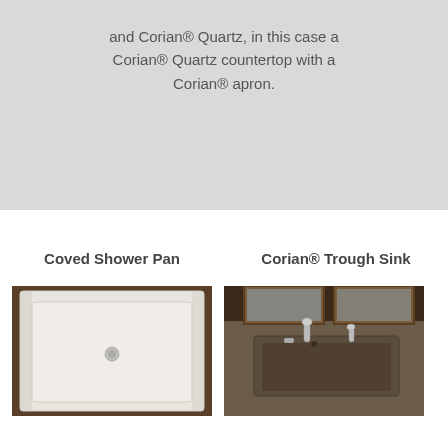and Corian® Quartz, in this case a Corian® Quartz countertop with a Corian® apron.
Coved Shower Pan
Corian® Trough Sink
[Figure (photo): White coved shower pan with central drain, viewed from above]
[Figure (photo): Corian trough sink with faucets and mirror, dark stone-look material]